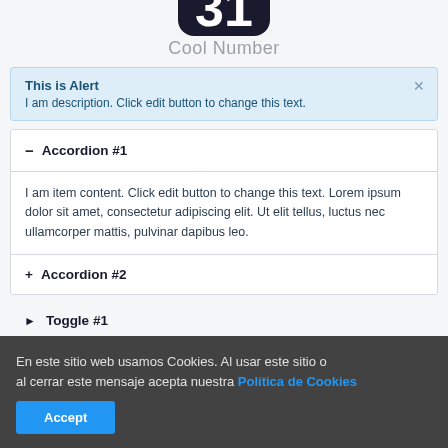[Figure (illustration): Partial view of a large number or digit icon/graphic at the top of the page]
Cool Number
This is Alert
I am description. Click edit button to change this text.
— Accordion #1
I am item content. Click edit button to change this text. Lorem ipsum dolor sit amet, consectetur adipiscing elit. Ut elit tellus, luctus nec ullamcorper mattis, pulvinar dapibus leo.
+ Accordion #2
▶ Toggle #1
▶ Toggle #2
En este sitio web usamos Cookies. Al usar este sitio o al cerrar este mensaje acepta nuestra Política de Cookies
Accept
List Item #3